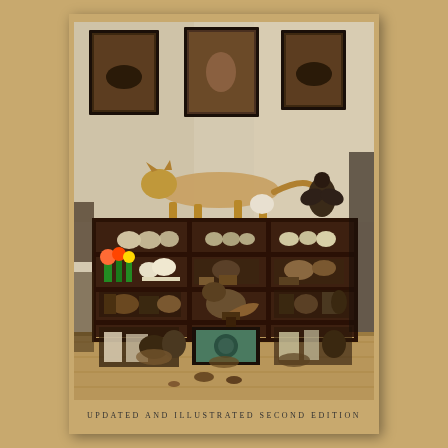[Figure (photo): Book cover showing a curiosity cabinet / natural history collection room with taxidermied animals, specimens on shelves, framed paintings on walls, and a large cat (puma/cougar) mounted on top of a bookcase. The room is filled with shells, skulls, artifacts, and various natural history objects arranged on wooden shelving units.]
UPDATED AND ILLUSTRATED SECOND EDITION